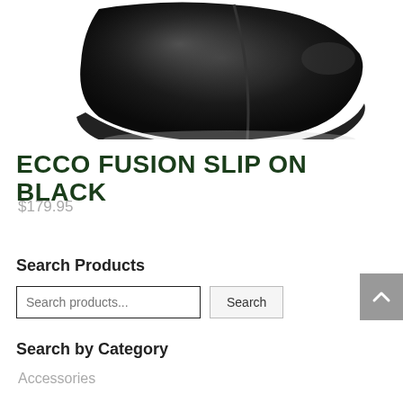[Figure (photo): Close-up photo of a black leather ECCO Fusion slip-on shoe, viewed from above at an angle, showing the toe and upper portion of the shoe against a white background.]
ECCO FUSION SLIP ON BLACK
$179.95
Search Products
Search products... Search
Search by Category
Accessories
Arch Support